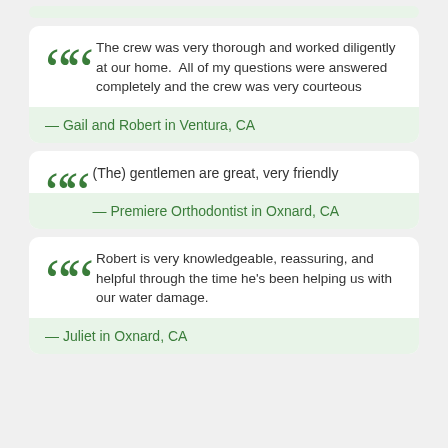The crew was very thorough and worked diligently at our home. All of my questions were answered completely and the crew was very courteous
— Gail and Robert in Ventura, CA
(The) gentlemen are great, very friendly
— Premiere Orthodontist in Oxnard, CA
Robert is very knowledgeable, reassuring, and helpful through the time he's been helping us with our water damage.
— Juliet in Oxnard, CA